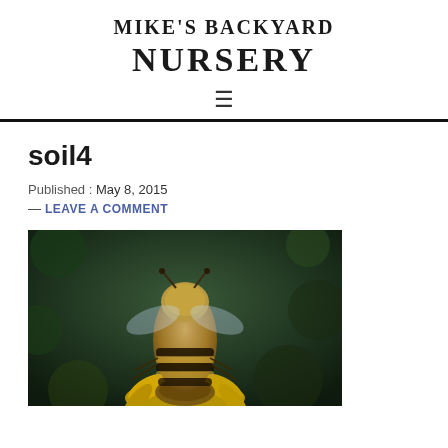MIKE'S BACKYARD NURSERY
soil4
Published : May 8, 2015
— LEAVE A COMMENT
[Figure (photo): Close-up photograph of a bee on a yellow flower, showing striped abdomen and fuzzy body, with a dark blurred background of green foliage]